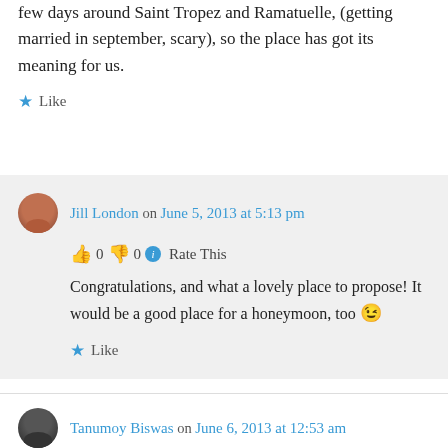few days around Saint Tropez and Ramatuelle, (getting married in september, scary), so the place has got its meaning for us.
★ Like
Jill London on June 5, 2013 at 5:13 pm
👍 0 👎 0 ℹ Rate This
Congratulations, and what a lovely place to propose! It would be a good place for a honeymoon, too 😉
★ Like
Tanumoy Biswas on June 6, 2013 at 12:53 am